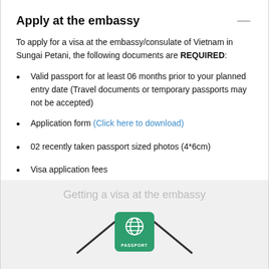Apply at the embassy
To apply for a visa at the embassy/consulate of Vietnam in Sungai Petani, the following documents are REQUIRED:
Valid passport for at least 06 months prior to your planned entry date (Travel documents or temporary passports may not be accepted)
Application form (Click here to download)
02 recently taken passport sized photos (4*6cm)
Visa application fees
[Figure (infographic): Getting a visa at the embassy infographic showing a passport icon in a green rounded rectangle with diagonal arrows on each side, on a light grey background.]